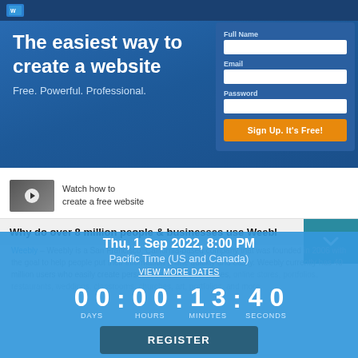Weebly navigation bar
The easiest way to create a website
Free. Powerful. Professional.
[Figure (screenshot): Sign-up form card with Full Name, Email, Password fields and Sign Up It's Free button]
[Figure (screenshot): Video thumbnail with play button for watch how to create a free website]
Watch how to create a free website
Why do over 8 million people & businesses use Weebly
Thu, 1 Sep 2022, 8:00 PM
Pacific Time (US and Canada)
VIEW MORE DATES
00 DAYS  00 HOURS : 13 MINUTES : 40 SECONDS
REGISTER